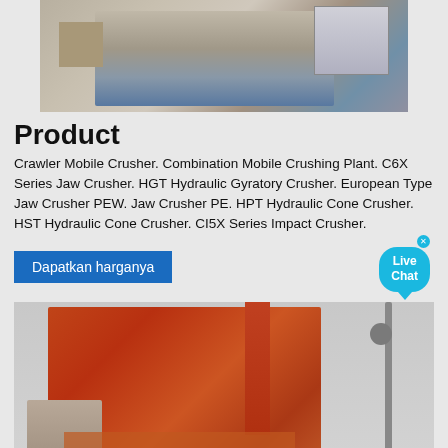[Figure (photo): Industrial crusher or mining equipment machine, top portion visible, grey background]
Product
Crawler Mobile Crusher. Combination Mobile Crushing Plant. C6X Series Jaw Crusher. HGT Hydraulic Gyratory Crusher. European Type Jaw Crusher PEW. Jaw Crusher PE. HPT Hydraulic Cone Crusher. HST Hydraulic Cone Crusher. CI5X Series Impact Crusher.
Dapatkan harganya
[Figure (photo): Large red/orange industrial asphalt mixing plant or cement factory with tall chimney and machinery]
Product Particulars
2021-4-23 · LM vertical roller mill is a kind of high